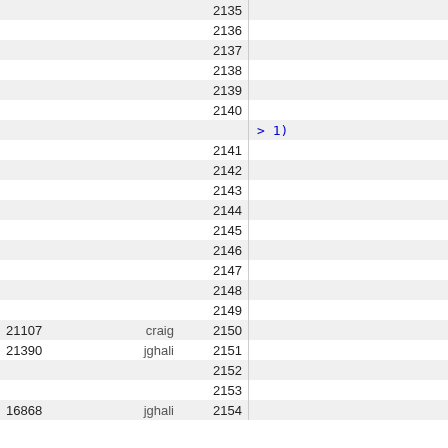| id | user | line | content |
| --- | --- | --- | --- |
|  |  | 2135 |  |
|  |  | 2136 |  |
|  |  | 2137 |  |
|  |  | 2138 |  |
|  |  | 2139 |  |
|  |  | 2140 |  |
|  |  |  | > 1) |
|  |  | 2141 |  |
|  |  | 2142 |  |
|  |  | 2143 |  |
|  |  | 2144 |  |
|  |  | 2145 |  |
|  |  | 2146 |  |
|  |  | 2147 |  |
|  |  | 2148 |  |
|  |  | 2149 |  |
| 21107 | craig | 2150 |  |
| 21390 | jghali | 2151 |  |
|  |  | 2152 |  |
|  |  | 2153 |  |
| 16868 | jghali | 2154 |  |